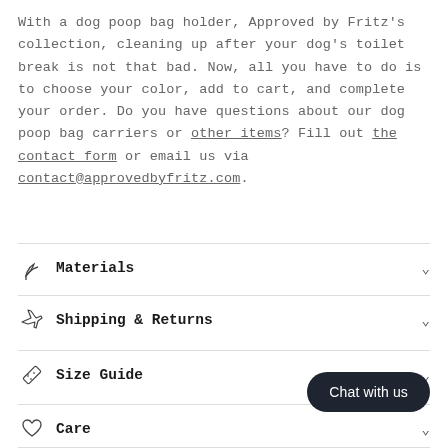With a dog poop bag holder, Approved by Fritz's collection, cleaning up after your dog's toilet break is not that bad. Now, all you have to do is to choose your color, add to cart, and complete your order. Do you have questions about our dog poop bag carriers or other items? Fill out the contact form or email us via contact@approvedbyfritz.com.
Materials
Shipping & Returns
Size Guide
Care